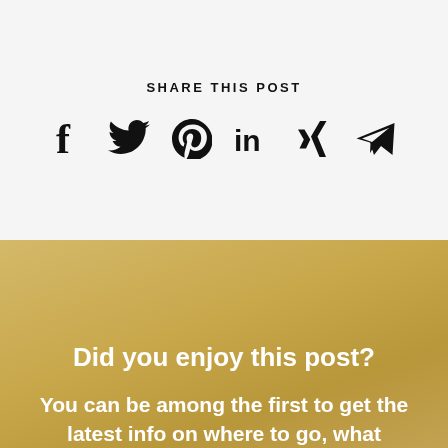SHARE THIS POST
[Figure (illustration): Social media share icons: Facebook (f), Twitter (bird), Pinterest (P), LinkedIn (in), Xing (X), Telegram (paper plane arrow)]
Did you enjoy this post?
You can be among the first to get the latest info on where to go, what